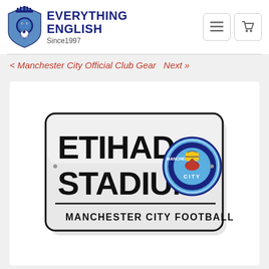[Figure (logo): Everything English logo: blue shield with lion and soccer ball, brand name in dark blue bold text, 'Since 1997' subtitle]
< Manchester City Official Club Gear  Next »
[Figure (photo): Manchester City Etihad Stadium street sign - white rectangular sign with black bold text reading ETIHAD STADIUM, Manchester City FC crest on right, text MANCHESTER CITY FOOTBALL CLUB at bottom]